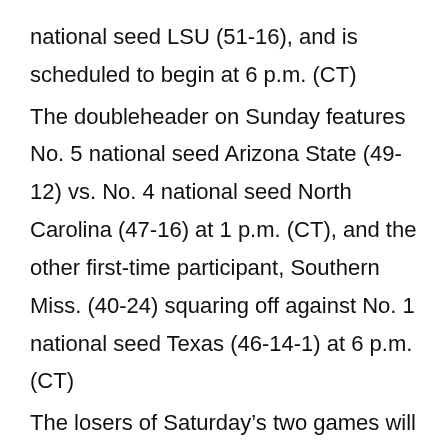national seed LSU (51-16), and is scheduled to begin at 6 p.m. (CT)
The doubleheader on Sunday features No. 5 national seed Arizona State (49-12) vs. No. 4 national seed North Carolina (47-16) at 1 p.m. (CT), and the other first-time participant, Southern Miss. (40-24) squaring off against No. 1 national seed Texas (46-14-1) at 6 p.m. (CT)
The losers of Saturday’s two games will play one another at 1 p.m. (CT) on Monday, while Saturday’s winners face off at 6 p.m. (CT) Monday. The losers of Sunday’s games will play each other at 1 p.m. (CT) on Tuesday, while Sunday’s winners meet Tuesday at 6 p.m. (CT)